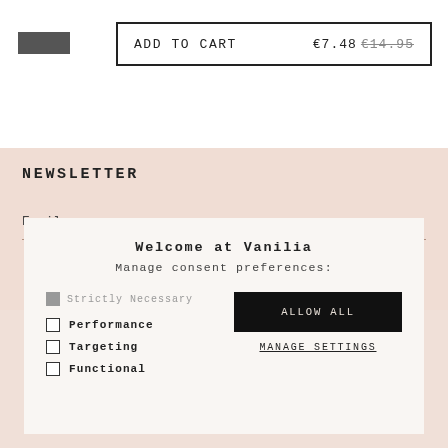[Figure (screenshot): Add to Cart button with price €7.48 and strikethrough original price €14.95]
NEWSLETTER
Email →
Welcome at Vanilia
Manage consent preferences:
Strictly Necessary
Performance
Targeting
Functional
ALLOW ALL
MANAGE SETTINGS